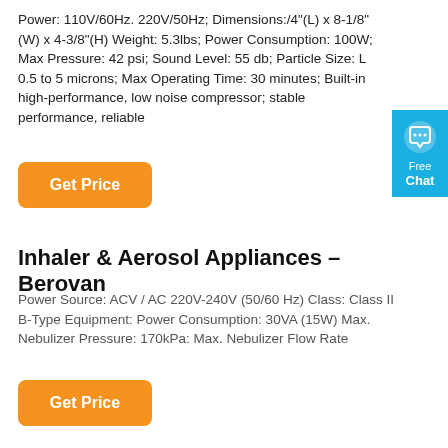Power: 110V/60Hz. 220V/50Hz; Dimensions:/4"(L) x 8-1/8"(W) x 4-3/8"(H) Weight: 5.3lbs; Power Consumption: 100W; Max Pressure: 42 psi; Sound Level: 55 db; Particle Size: L 0.5 to 5 microns; Max Operating Time: 30 minutes; Built-in high-performance, low noise compressor; stable performance, reliable
[Figure (other): Orange 'Get Price' button]
[Figure (other): Blue 'Free Chat' widget with speech bubble icon]
Inhaler & Aerosol Appliances – Berovan
Power Source: ACV / AC 220V-240V (50/60 Hz) Class: Class II B-Type Equipment: Power Consumption: 30VA (15W) Max. Nebulizer Pressure: 170kPa: Max. Nebulizer Flow Rate
[Figure (other): Orange 'Get Price' button]